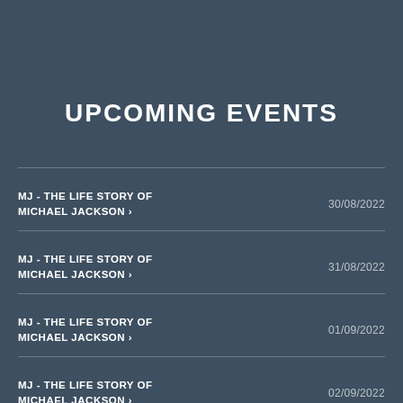UPCOMING EVENTS
MJ - THE LIFE STORY OF MICHAEL JACKSON › 30/08/2022
MJ - THE LIFE STORY OF MICHAEL JACKSON › 31/08/2022
MJ - THE LIFE STORY OF MICHAEL JACKSON › 01/09/2022
MJ - THE LIFE STORY OF MICHAEL JACKSON › 02/09/2022